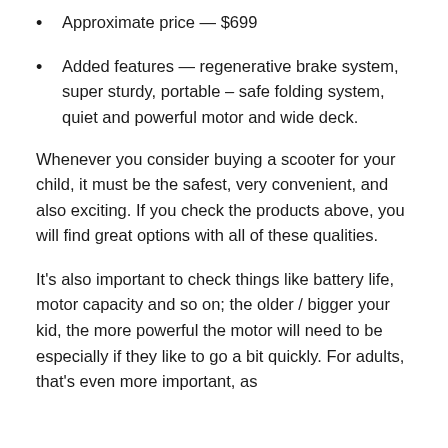Approximate price — $699
Added features — regenerative brake system, super sturdy, portable – safe folding system, quiet and powerful motor and wide deck.
Whenever you consider buying a scooter for your child, it must be the safest, very convenient, and also exciting. If you check the products above, you will find great options with all of these qualities.
It's also important to check things like battery life, motor capacity and so on; the older / bigger your kid, the more powerful the motor will need to be especially if they like to go a bit quickly. For adults, that's even more important, as